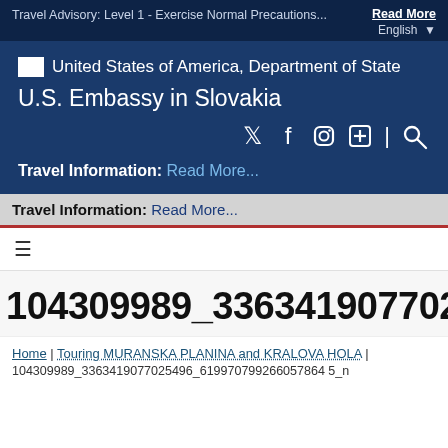Travel Advisory: Level 1 - Exercise Normal Precautions...  Read More  English
[Figure (logo): United States of America, Department of State seal/logo placeholder]
U.S. Embassy in Slovakia
Travel Information: Read More...
Travel Information: Read More...
≡ (hamburger menu)
104309989_3363419077025496_619970799266
Home | Touring MURANSKA PLANINA and KRALOVA HOLA |
104309989_3363419077025496_619970799266057864 5_n